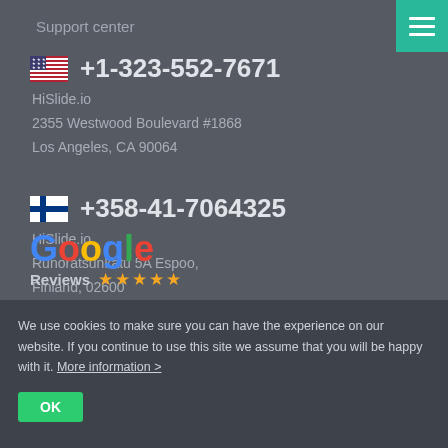Support center
+1-323-552-7671
HiSlide.io
2355 Westwood Boulevard #1868
Los Angeles, CA 90064
+358-41-7064325
HiSlide.io
Runoratsunkatu 5A Espoo,
Finland, 02600
[Figure (logo): Google Reviews logo with 5 stars]
We use cookies to make sure you can have the experience on our website. If you continue to use this site we assume that you will be happy with it. More information >
OK